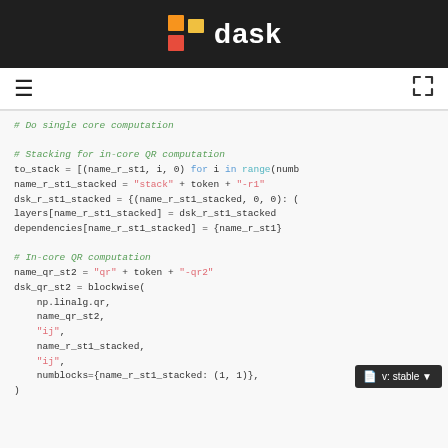dask
# Do single core computation

# Stacking for in-core QR computation
to_stack = [(name_r_st1, i, 0) for i in range(numb
name_r_st1_stacked = "stack" + token + "-r1"
dsk_r_st1_stacked = {(name_r_st1_stacked, 0, 0): (
layers[name_r_st1_stacked] = dsk_r_st1_stacked
dependencies[name_r_st1_stacked] = {name_r_st1}

# In-core QR computation
name_qr_st2 = "qr" + token + "-qr2"
dsk_qr_st2 = blockwise(
    np.linalg.qr,
    name_qr_st2,
    "ij",
    name_r_st1_stacked,
    "ij",
    numblocks={name_r_st1_stacked: (1, 1)},
)